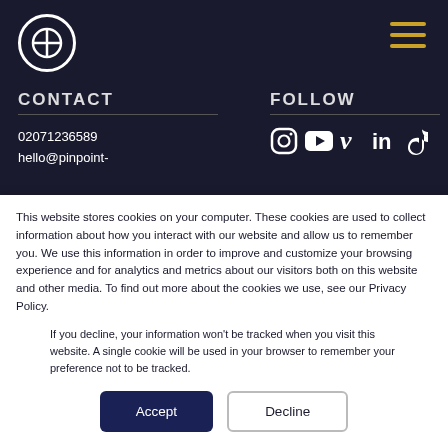[Figure (logo): Pinpoint logo: white circle with crosshair/plus symbol inside]
[Figure (illustration): Hamburger menu icon in gold/yellow color, top right]
CONTACT
FOLLOW
02071236589
hello@pinpoint-
[Figure (illustration): Social media icons row: Instagram, YouTube, Vimeo, LinkedIn, TikTok]
This website stores cookies on your computer. These cookies are used to collect information about how you interact with our website and allow us to remember you. We use this information in order to improve and customize your browsing experience and for analytics and metrics about our visitors both on this website and other media. To find out more about the cookies we use, see our Privacy Policy.
If you decline, your information won't be tracked when you visit this website. A single cookie will be used in your browser to remember your preference not to be tracked.
Accept
Decline